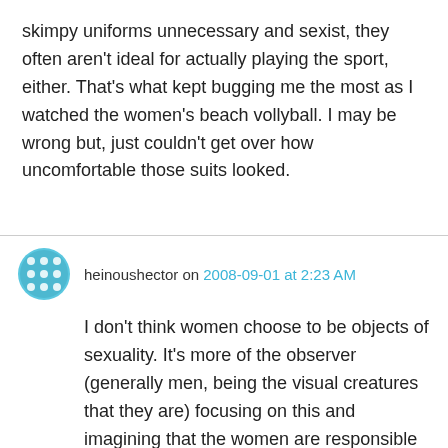skimpy uniforms unnecessary and sexist, they often aren't ideal for actually playing the sport, either. That's what kept bugging me the most as I watched the women's beach vollyball. I may be wrong but, just couldn't get over how uncomfortable those suits looked.
heinoushector on 2008-09-01 at 2:23 AM
I don't think women choose to be objects of sexuality. It's more of the observer (generally men, being the visual creatures that they are) focusing on this and imagining that the women are responsible for what the men are seeing. It's all about perception, just like the popular saying: "beauty is in the eye of the beholder"; except in